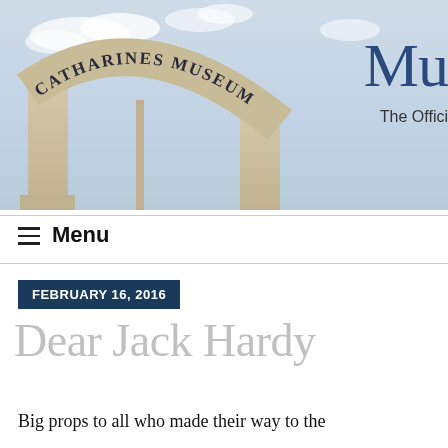[Figure (photo): Photo of St. Catharines Museum entrance arch with stone engraving reading 'CATHARINES MUSEUM', cloudy sky background, and partial 'Mu' logo with 'The Offici' text overlay on the right side]
≡  Menu
FEBRUARY 16, 2016
Dear Jack Hardy
Big props to all who made their way to the